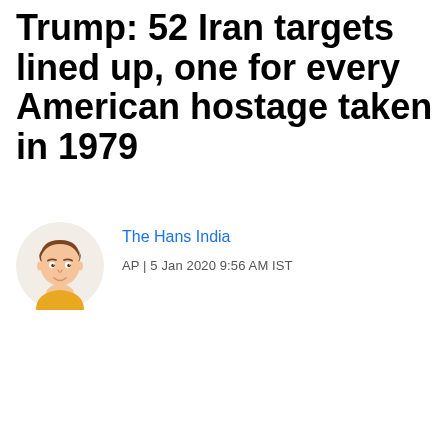Trump: 52 Iran targets lined up, one for every American hostage taken in 1979
[Figure (illustration): Circular avatar illustration of a young man with brown hair wearing a yellow shirt, on a light beige circular background]
The Hans India
AP | 5 Jan 2020 9:56 AM IST